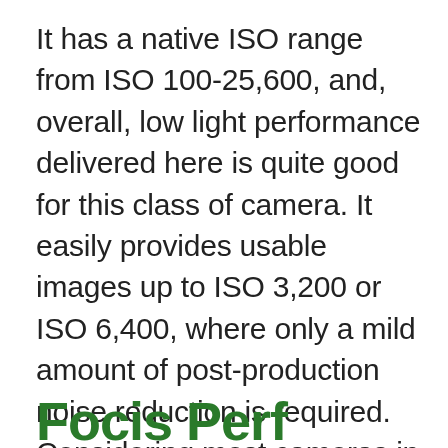It has a native ISO range from ISO 100-25,600, and, overall, low light performance delivered here is quite good for this class of camera. It easily provides usable images up to ISO 3,200 or ISO 6,400, where only a mild amount of post-production noise reduction is required. Considering most cameras in this class struggle starting at ISO 3,200, the results provided here are surprisingly good.
Foc… Per…